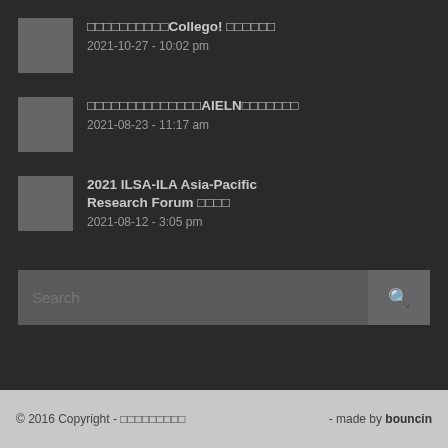□□□□□□□□□□Collego! □□□□□□
2021-10-27 - 10:02 pm
□□□□□□□□□□□□□□AIELN□□□□□□□
2021-08-23 - 11:17 am
2021 ILSA-ILA Asia-Pacific Research Forum □□□□
2021-08-12 - 3:05 pm
Search
© 2016 Copyright - □□□□□□□□□ - made by bouncin